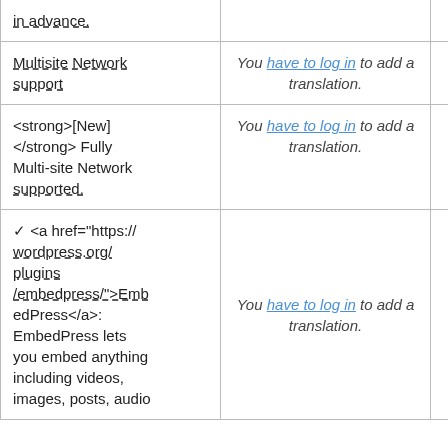| in advance. |  |  |
| Multisite Network support | You have to log in to add a translation. | Details |
| <strong>[New] </strong> Fully Multi-site Network supported. | You have to log in to add a translation. | Details |
| ✓ <a href="https://wordpress.org/plugins/embedpress/">EmbedPress</a>: EmbedPress lets you embed anything including videos, images, posts, audio | You have to log in to add a translation. | Details |